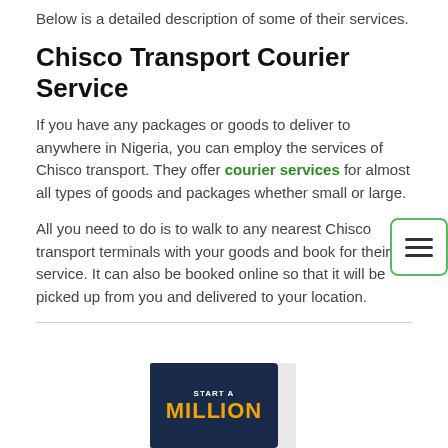Below is a detailed description of some of their services.
Chisco Transport Courier Service
If you have any packages or goods to deliver to anywhere in Nigeria, you can employ the services of Chisco transport. They offer courier services for almost all types of goods and packages whether small or large.
All you need to do is to walk to any nearest Chisco transport terminals with your goods and book for their service. It can also be booked online so that it will be picked up from you and delivered to your location.
[Figure (other): A hamburger/menu button icon with three horizontal lines inside a green-bordered rounded rectangle]
[Figure (illustration): A book cover showing 'START A MILLION' text on a dark navy blue background with golden/yellow lettering, with a light grey spine visible]